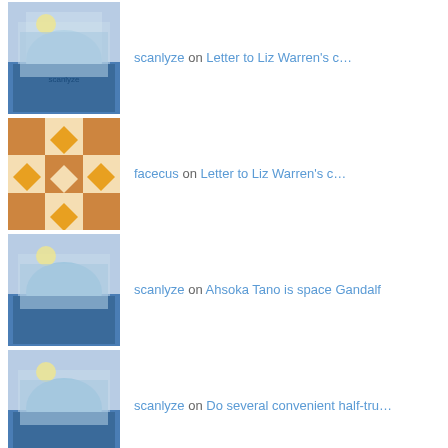scanlyze on Letter to Liz Warren's c…
facecus on Letter to Liz Warren's c…
scanlyze on Ahsoka Tano is space Gandalf
scanlyze on Do several convenient half-tru…
scanlyze on Ahsoka Tano is space Gandalf
scanlyze on Ahsoka Tano is space Gandalf
scanlyze on Ahsoka Tano is space Gandalf
scanlyze on Ahsoka Tano is space Gandalf
scanlyze on Ahsoka Tano is space Gandalf